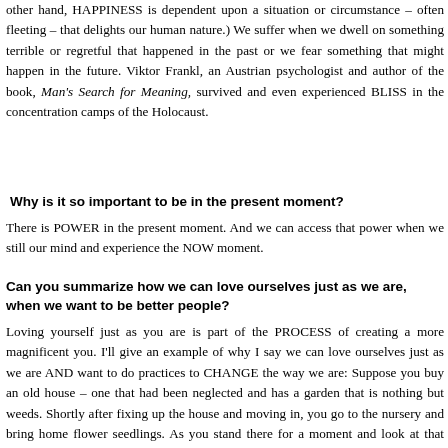other hand, HAPPINESS is dependent upon a situation or circumstance – often fleeting – that delights our human nature.) We suffer when we dwell on something terrible or regretful that happened in the past or we fear something that might happen in the future. Viktor Frankl, an Austrian psychologist and author of the book, Man's Search for Meaning, survived and even experienced BLISS in the concentration camps of the Holocaust.
Why is it so important to be in the present moment?
There is POWER in the present moment. And we can access that power when we still our mind and experience the NOW moment.
Can you summarize how we can love ourselves just as we are, when we want to be better people?
Loving yourself just as you are is part of the PROCESS of creating a more magnificent you. I'll give an example of why I say we can love ourselves just as we are AND want to do practices to CHANGE the way we are: Suppose you buy an old house – one that had been neglected and has a garden that is nothing but weeds. Shortly after fixing up the house and moving in, you go to the nursery and bring home flower seedlings. As you stand there for a moment and look at that garden